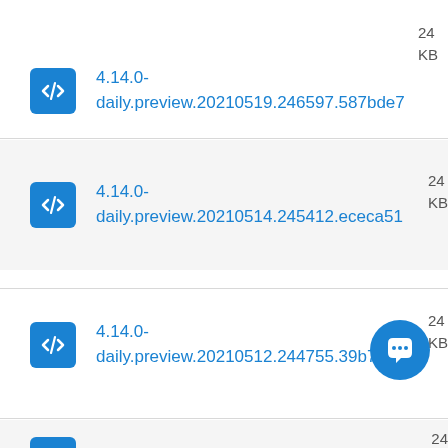4.14.0-daily.preview.20210519.246597.587bde7  24  KB
4.14.0-daily.preview.20210514.245412.ececa51  24  KB
4.14.0-daily.preview.20210512.244755.39b7a60  24  KB
4.14.0-  24